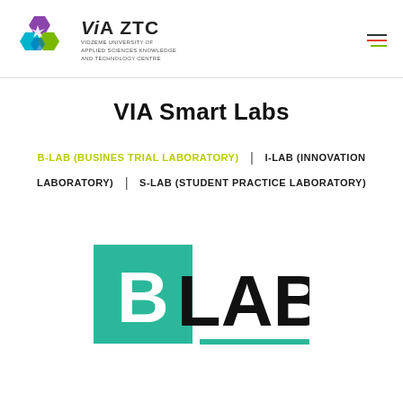[Figure (logo): ViA ZTC logo — hexagonal icon in purple, cyan, green and blue; text: ViA ZTC; subtitle: VIDZEME UNIVERSITY OF APPLIED SCIENCES KNOWLEDGE AND TECHNOLOGY CENTRE]
[Figure (logo): Hamburger menu icon — three horizontal lines in dark grey, red-orange, and green]
VIA Smart Labs
B-LAB (BUSINES TRIAL LABORATORY) | I-LAB (INNOVATION LABORATORY) | S-LAB (STUDENT PRACTICE LABORATORY)
[Figure (logo): B LAB logo — green square with white letter B, followed by text LAB in bold black with a green underline]